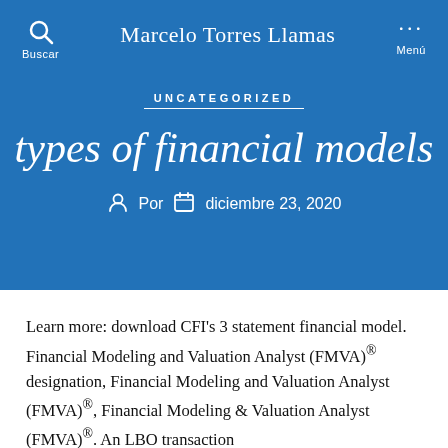Marcelo Torres Llamas
UNCATEGORIZED
types of financial models
Por  diciembre 23, 2020
Learn more: download CFI's 3 statement financial model. Financial Modeling and Valuation Analyst (FMVA)® designation, Financial Modeling and Valuation Analyst (FMVA)®, Financial Modeling & Valuation Analyst (FMVA)®. An LBO transaction